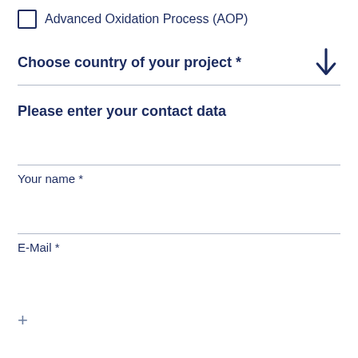Advanced Oxidation Process (AOP)
Choose country of your project *
Please enter your contact data
Your name *
E-Mail *
+